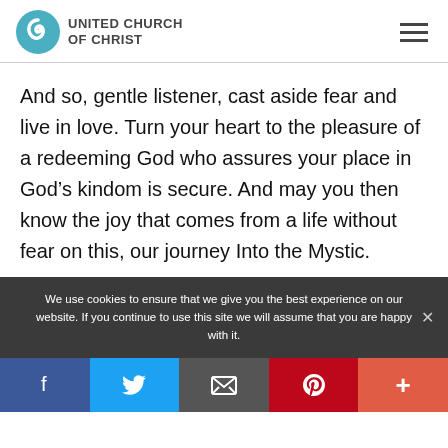UNITED CHURCH OF CHRIST
And so, gentle listener, cast aside fear and live in love. Turn your heart to the pleasure of a redeeming God who assures your place in God’s kindom is secure. And may you then know the joy that comes from a life without fear on this, our journey Into the Mystic.
We use cookies to ensure that we give you the best experience on our website. If you continue to use this site we will assume that you are happy with it.